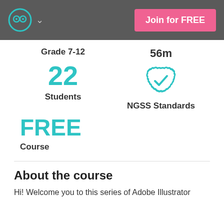Join for FREE
Grade 7-12
56m
22
Students
[Figure (illustration): Teal badge with checkmark icon representing NGSS Standards]
NGSS Standards
FREE
Course
About the course
Hi! Welcome you to this series of Adobe Illustrator